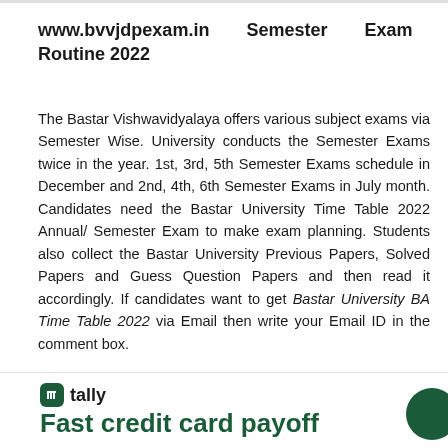www.bvvjdpexam.in Semester Exam Routine 2022
The Bastar Vishwavidyalaya offers various subject exams via Semester Wise. University conducts the Semester Exams twice in the year. 1st, 3rd, 5th Semester Exams schedule in December and 2nd, 4th, 6th Semester Exams in July month. Candidates need the Bastar University Time Table 2022 Annual/ Semester Exam to make exam planning. Students also collect the Bastar University Previous Papers, Solved Papers and Guess Question Papers and then read it accordingly. If candidates want to get Bastar University BA Time Table 2022 via Email then write your Email ID in the comment box.
[Figure (logo): Tally app advertisement banner with logo and tagline 'Fast credit card payoff']